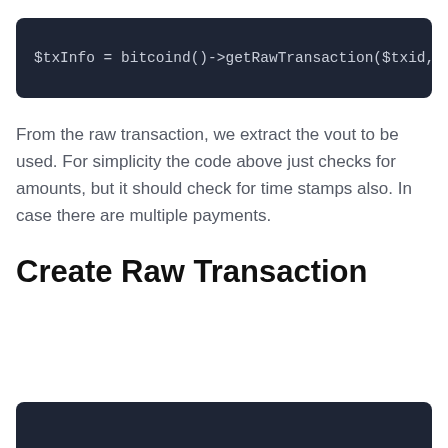[Figure (screenshot): Dark code block showing PHP code: $txInfo = bitcoind()->getRawTransaction($txid,]
From the raw transaction, we extract the vout to be used. For simplicity the code above just checks for amounts, but it should check for time stamps also. In case there are multiple payments.
Create Raw Transaction
[Figure (screenshot): Dark code block partially visible at the bottom of the page]